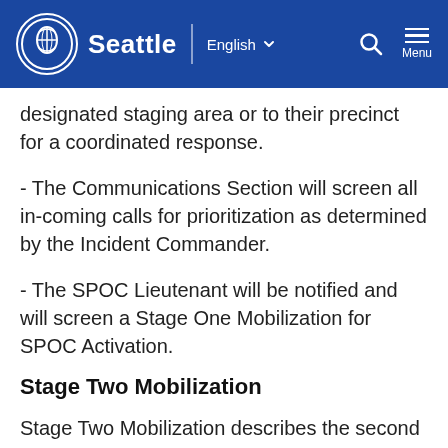Seattle | English  Menu
designated staging area or to their precinct for a coordinated response.
- The Communications Section will screen all in-coming calls for prioritization as determined by the Incident Commander.
- The SPOC Lieutenant will be notified and will screen a Stage One Mobilization for SPOC Activation.
Stage Two Mobilization
Stage Two Mobilization describes the second level of mobilization for emergency operations under